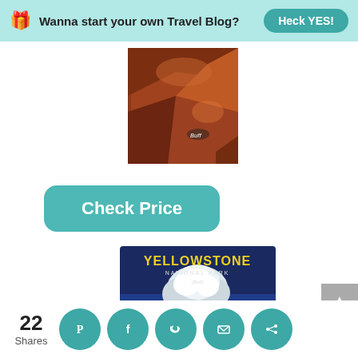Wanna start your own Travel Blog? Heck YES!
[Figure (photo): A buff neck gaiter/bandana with reddish-brown rock texture pattern and Buff logo]
Check Price
[Figure (photo): A Buff National Park Series neck gaiter featuring Yellowstone National Park design with Old Faithful geyser erupting against a blue and yellow background]
22 Shares